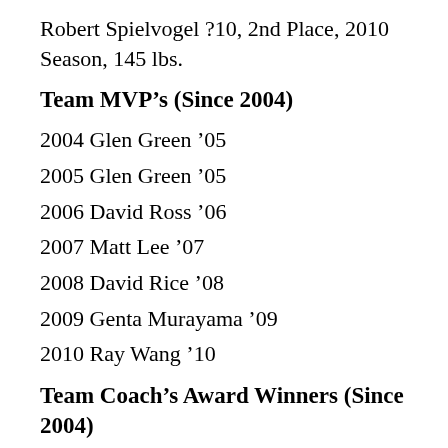Robert Spielvogel ?10, 2nd Place, 2010 Season, 145 lbs.
Team MVP’s (Since 2004)
2004 Glen Green ’05
2005 Glen Green ’05
2006 David Ross ’06
2007 Matt Lee ’07
2008 David Rice ’08
2009 Genta Murayama ’09
2010 Ray Wang ’10
Team Coach’s Award Winners (Since 2004)
2004 Kevin Yaghoubi ’04